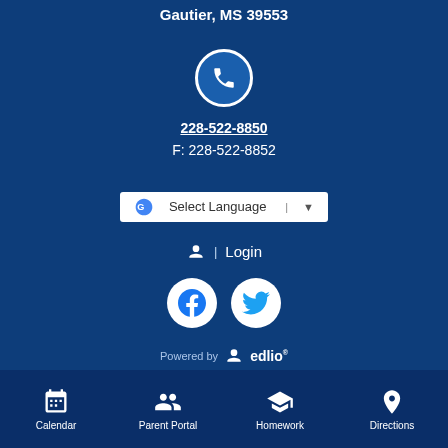Gautier, MS 39553
[Figure (illustration): Phone icon in circular border]
228-522-8850
F: 228-522-8852
[Figure (screenshot): Google Translate Select Language dropdown]
| Login
[Figure (illustration): Facebook and Twitter social media icon circles]
Powered by edlio
Calendar  Parent Portal  Homework  Directions